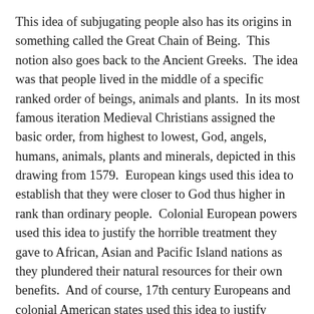This idea of subjugating people also has its origins in something called the Great Chain of Being. This notion also goes back to the Ancient Greeks. The idea was that people lived in the middle of a specific ranked order of beings, animals and plants. In its most famous iteration Medieval Christians assigned the basic order, from highest to lowest, God, angels, humans, animals, plants and minerals, depicted in this drawing from 1579. European kings used this idea to establish that they were closer to God thus higher in rank than ordinary people. Colonial European powers used this idea to justify the horrible treatment they gave to African, Asian and Pacific Island nations as they plundered their natural resources for their own benefits. And of course, 17th century Europeans and colonial American states used this idea to justify slavery as a means of obtaining a free source of labor. Needless to say, our own treatment of Native Americans for the past several centuries has been just as bad.